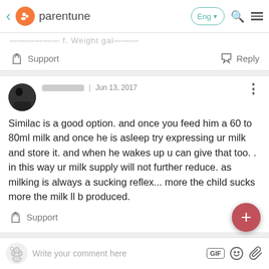parentune | Eng | search | menu
...formulated f. Weight gai...
Support   Reply
Jun 13, 2017 | Similac is a good option. and once you feed him a 60 to 80ml milk and once he is asleep try expressing ur milk and store it. and when he wakes up u can give that too. . in this way ur milk supply will not further reduce. as milking is always a sucking reflex... more the child sucks more the milk ll b produced.
Support   Reply
Write your comment here   GIF